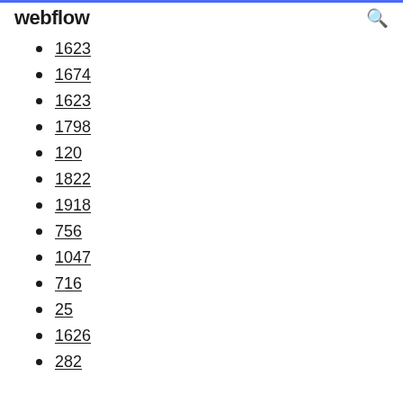webflow
1623
1674
1623
1798
120
1822
1918
756
1047
716
25
1626
282